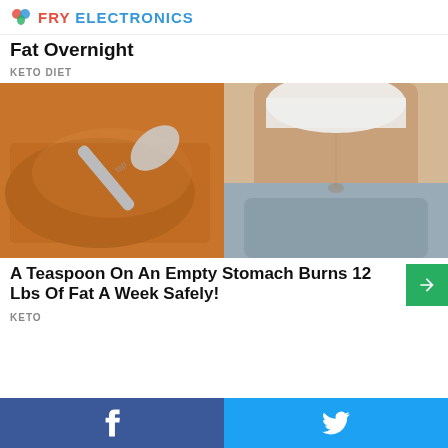FRY ELECTRONICS
Fat Overnight
KETO DIET
[Figure (photo): Two-panel photo: left side shows a spoon in a bowl of brown spice/ground cinnamon; right side shows a toned woman's midsection in white crop top and grey sweatpants.]
A Teaspoon On An Empty Stomach Burns 12 Lbs Of Fat A Week Safely!
KETO